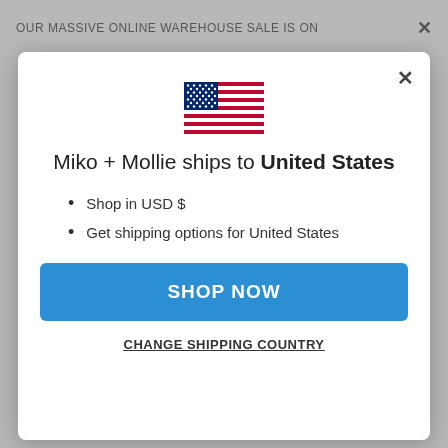OUR MASSIVE ONLINE WAREHOUSE SALE IS ON
[Figure (screenshot): Modal dialog box on a website with a US flag, shipping country selector for United States]
Miko + Mollie ships to United States
Shop in USD $
Get shipping options for United States
SHOP NOW
CHANGE SHIPPING COUNTRY
maximum outfits from minimal items. Works for me every time. I still come home from trips with items I